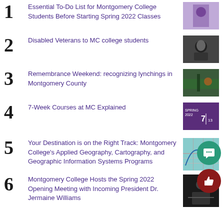1. Essential To-Do List for Montgomery College Students Before Starting Spring 2022 Classes
2. Disabled Veterans to MC college students
3. Remembrance Weekend: recognizing lynchings in Montgomery County
4. 7-Week Courses at MC Explained
5. Your Destination is on the Right Track: Montgomery College's Applied Geography, Cartography, and Geographic Information Systems Programs
6. Montgomery College Hosts the Spring 2022 Opening Meeting with Incoming President Dr. Jermaine Williams